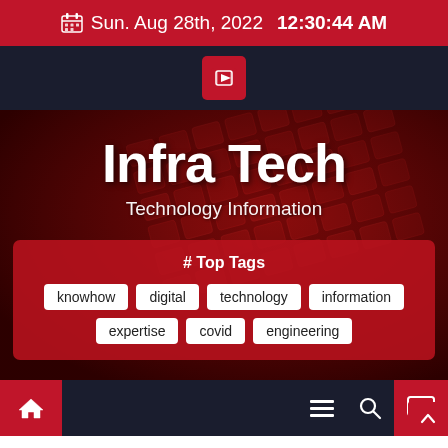Sun. Aug 28th, 2022  12:30:44 AM
[Figure (screenshot): YouTube icon button on dark navigation bar]
Infra Tech
Technology Information
# Top Tags
knowhow
digital
technology
information
expertise
covid
engineering
Home | Menu | Search | TV navigation bar